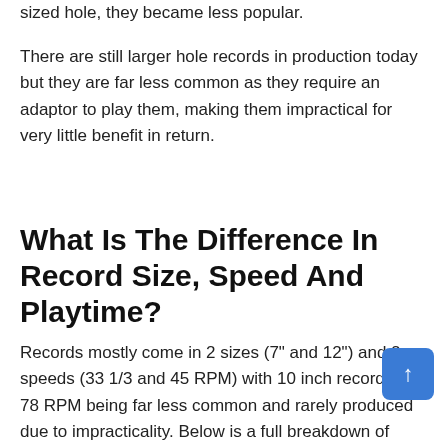sized hole, they became less popular.
There are still larger hole records in production today but they are far less common as they require an adaptor to play them, making them impractical for very little benefit in return.
What Is The Difference In Record Size, Speed And Playtime?
Records mostly come in 2 sizes (7" and 12") and 2 speeds (33 1/3 and 45 RPM) with 10 inch records and 78 RPM being far less common and rarely produced due to impracticality. Below is a full breakdown of every record size, speed, playtime, rarity and use.